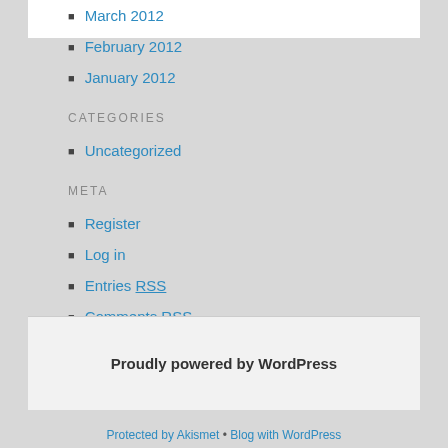March 2012
February 2012
January 2012
CATEGORIES
Uncategorized
META
Register
Log in
Entries RSS
Comments RSS
WordPress.org
Proudly powered by WordPress
Protected by Akismet • Blog with WordPress